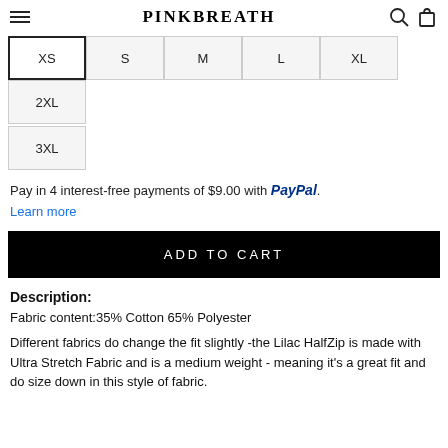PINKBREATH
XS S M L XL 2XL 3XL (size selector buttons)
Pay in 4 interest-free payments of $9.00 with PayPal. Learn more
ADD TO CART
Description:
Fabric content:35% Cotton 65% Polyester
Different fabrics do change the fit slightly -the Lilac HalfZip is made with Ultra Stretch Fabric and is a medium weight - meaning it's a great fit and do size down in this style of fabric.